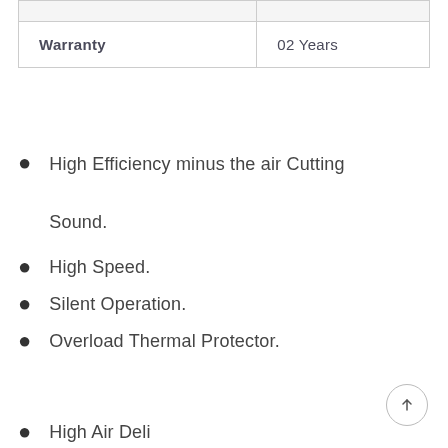|  |  |
| Warranty | 02 Years |
High Efficiency minus the air Cutting Sound.
High Speed.
Silent Operation.
Overload Thermal Protector.
High Air Deli…